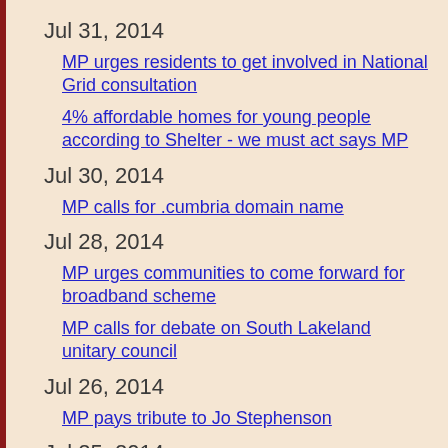Jul 31, 2014
MP urges residents to get involved in National Grid consultation
4% affordable homes for young people according to Shelter - we must act says MP
Jul 30, 2014
MP calls for .cumbria domain name
Jul 28, 2014
MP urges communities to come forward for broadband scheme
MP calls for debate on South Lakeland unitary council
Jul 26, 2014
MP pays tribute to Jo Stephenson
Jul 25, 2014
MP shares his excitement ahead of national parks week
GDP figures are good news for Cumbria - Farron